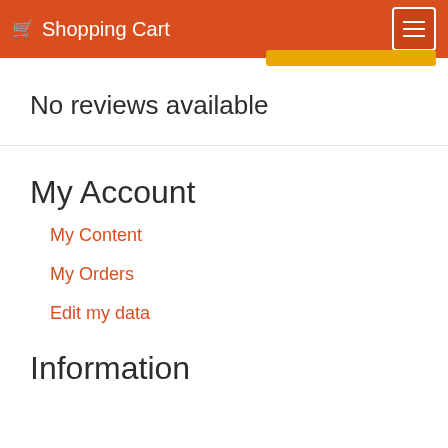Shopping Cart
No reviews available
My Account
My Content
My Orders
Edit my data
Information